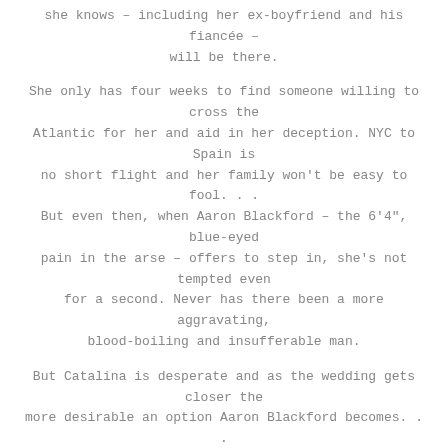she knows – including her ex-boyfriend and his fiancée – will be there.
She only has four weeks to find someone willing to cross the Atlantic for her and aid in her deception. NYC to Spain is no short flight and her family won't be easy to fool. . . But even then, when Aaron Blackford – the 6'4", blue-eyed pain in the arse – offers to step in, she's not tempted even for a second. Never has there been a more aggravating, blood-boiling and insufferable man.
But Catalina is desperate and as the wedding gets closer the more desirable an option Aaron Blackford becomes. . .
The Spanish Love Deception is an enemies-to-lovers, fake-dating romance. Perfect for those looking for a steamy slow-burn with the promise of a sweet happy-ever-after.
“Everything you could want in a romance is right here.”